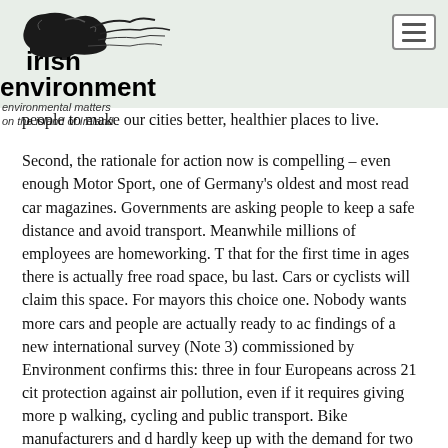[Figure (logo): Irish Environment logo with tree illustration and text 'irish environment - environmental matters on the island of Ireland']
people to make our cities better, healthier places to live.
Second, the rationale for action now is compelling – even enough Motor Sport, one of Germany's oldest and most read car magazines. Governments are asking people to keep a safe distance and avoid transport. Meanwhile millions of employees are homeworking. That for the first time in ages there is actually free road space, but last. Cars or cyclists will claim this space. For mayors this choice one. Nobody wants more cars and people are actually ready to act findings of a new international survey (Note 3) commissioned by Environment confirms this: three in four Europeans across 21 cities protection against air pollution, even if it requires giving more priority to walking, cycling and public transport. Bike manufacturers and dealers can hardly keep up with the demand for two wheelers – electric and human powered!
All of this is excellent news for urbanites. And since city dwellers more efficiently, use less energy to heat their homes and drive fewer